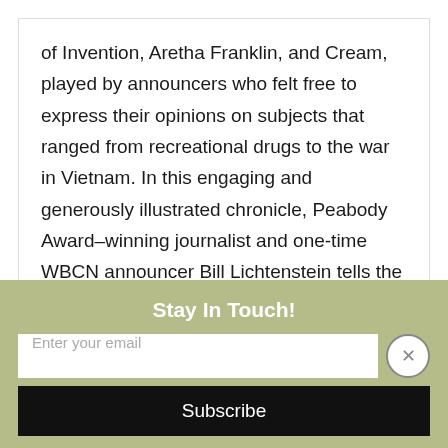of Invention, Aretha Franklin, and Cream, played by announcers who felt free to express their opinions on subjects that ranged from recreational drugs to the war in Vietnam. In this engaging and generously illustrated chronicle, Peabody Award–winning journalist and one-time WBCN announcer Bill Lichtenstein tells the story of how a radio station
ABOUT US'   BROWSE
HOURS & DIRECTIONS | CONTACT US | PRIVACY POLICY |
Stay In Touch!
Enter your email
Subscribe